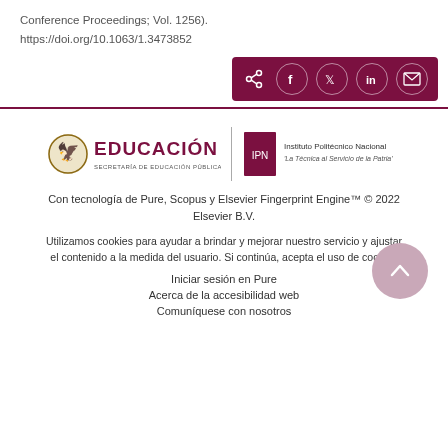Conference Proceedings; Vol. 1256).
https://doi.org/10.1063/1.3473852
[Figure (other): Share buttons bar with share icon, Facebook, Twitter, LinkedIn, and email icons on dark red background]
[Figure (logo): Educación - Secretaría de Educación Pública logo and Instituto Politécnico Nacional logo side by side]
Con tecnología de Pure, Scopus y Elsevier Fingerprint Engine™ © 2022 Elsevier B.V.
Utilizamos cookies para ayudar a brindar y mejorar nuestro servicio y ajustar el contenido a la medida del usuario. Si continúa, acepta el uso de cookies
Iniciar sesión en Pure
Acerca de la accesibilidad web
Comuníquese con nosotros